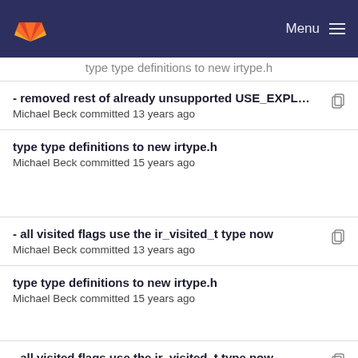GitLab Menu
type type definitions to new irtype.h (partial, cut off at top)
- removed rest of already unsupported USE_EXPL...
Michael Beck committed 13 years ago
type type definitions to new irtype.h
Michael Beck committed 15 years ago
- all visited flags use the ir_visited_t type now
Michael Beck committed 13 years ago
type type definitions to new irtype.h
Michael Beck committed 15 years ago
- all visited flags use the ir_visited_t type now
Michael Beck committed 13 years ago
Imprint